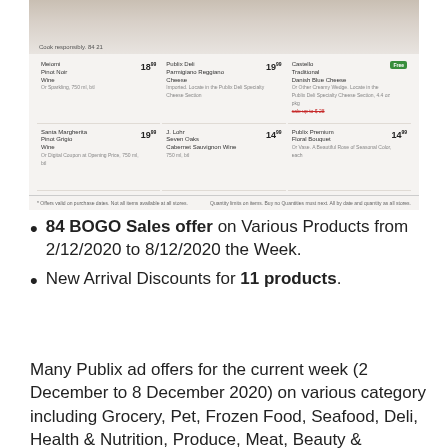[Figure (photo): Publix weekly ad flyer showing wine and cheese products with prices including Meiomi Pinot Noir Wine $18.99, Santa Margherita Pinot Grigio Wine $19.99, Publix Deli Parmigiano Reggiano Cheese $19.99, J. Lohr Seven Oaks Cabernet Sauvignon Wine $14.99, Castello Traditional Danish Blue Cheese with Free offer, Publix Premium Floral Bouquet $14.99]
84 BOGO Sales offer on Various Products from 2/12/2020 to 8/12/2020 the Week.
New Arrival Discounts for 11 products.
Many Publix ad offers for the current week (2 December to 8 December 2020) on various category including Grocery, Pet, Frozen Food, Seafood, Deli, Health & Nutrition, Produce, Meat, Beauty & Personal Care, Non-Foods,